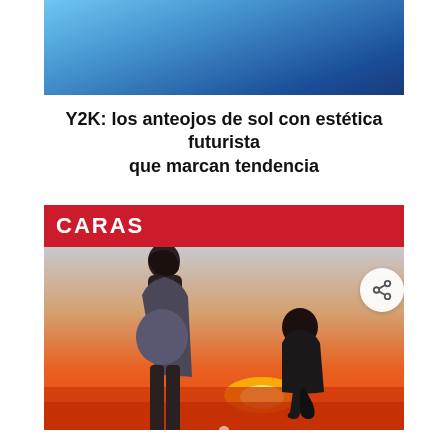[Figure (photo): Top portion of a person wearing blue clothing against a blue background, partially cropped]
Y2K: los anteojos de sol con estética futurista que marcan tendencia
[Figure (photo): Photo from CARAS magazine showing a pregnant woman standing while a man kneels before her, silhouetted against a sunset/orange sky at a beach]